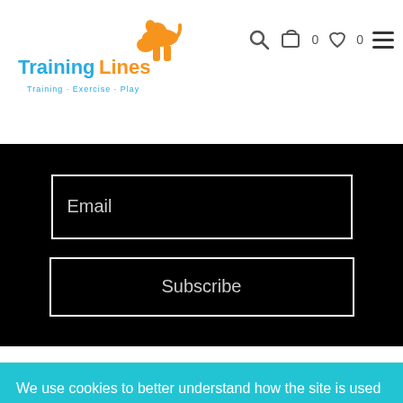[Figure (logo): TrainingLines logo with orange dog silhouette and subtitle 'Training · Exercise · Play']
Email
Subscribe
We use cookies to better understand how the site is used and give you the best experience. By continuing to use this site, you consent to our Cookie Policy. Click to learn more